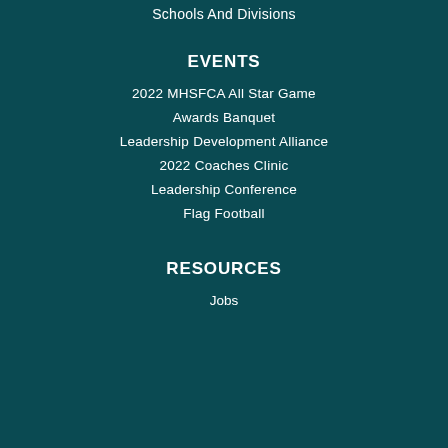Schools And Divisions
EVENTS
2022 MHSFCA All Star Game
Awards Banquet
Leadership Development Alliance
2022 Coaches Clinic
Leadership Conference
Flag Football
RESOURCES
Jobs